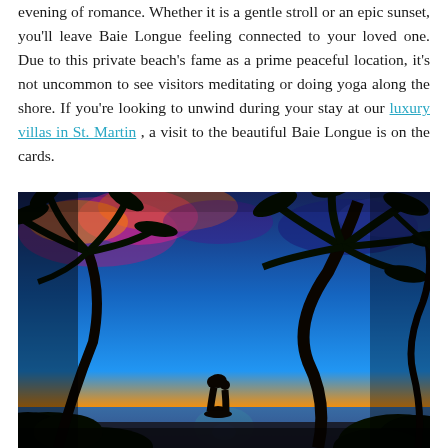evening of romance. Whether it is a gentle stroll or an epic sunset, you'll leave Baie Longue feeling connected to your loved one. Due to this private beach's fame as a prime peaceful location, it's not uncommon to see visitors meditating or doing yoga along the shore. If you're looking to unwind during your stay at our luxury villas in St. Martin , a visit to the beautiful Baie Longue is on the cards.
[Figure (photo): Silhouette of a couple kissing at sunset on a tropical beach with tall palm trees framing the scene. The sky shows vivid orange and yellow near the horizon transitioning to deep blue, with dramatic clouds lit in pink and orange tones.]